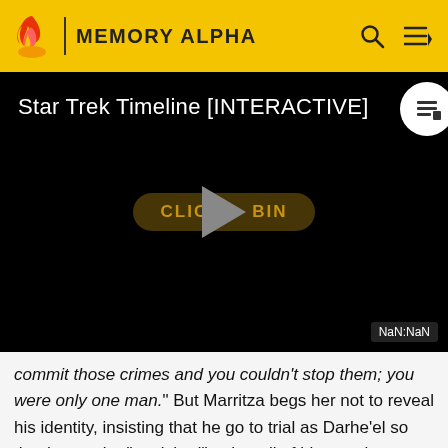MEMORY ALPHA
[Figure (screenshot): Embedded video player with title 'Star Trek Timeline [INTERACTIVE]' on black background with a play button overlay showing 'CLICK TO BEGIN' and a NaN:NaN timestamp label]
commit those crimes and you couldn't stop them; you were only one man." But Marritza begs her not to reveal his identity, insisting that he go to trial as Darhe'el so that he can be "punished" – that all of his people must be punished for what they did to the Bajorans. When she